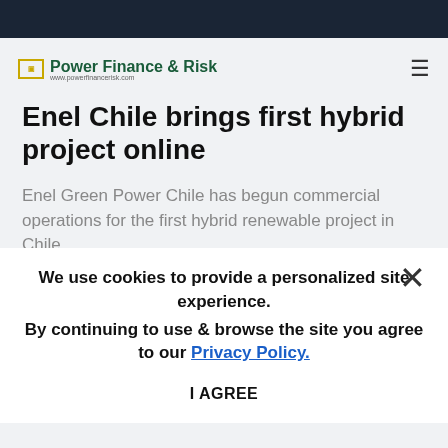Power Finance & Risk
Enel Chile brings first hybrid project online
Enel Green Power Chile has begun commercial operations for the first hybrid renewable project in Chile.
Alix [author text partially obscured]
Cypress Creek nabs additional loan for Texas solar project
Cypress Creek Ren[ewables] secured an additional $46.9 million loan to finance the company's construction of a solar-plus-storage
We use cookies to provide a personalized site experience.
By continuing to use & browse the site you agree to our Privacy Policy.
I AGREE